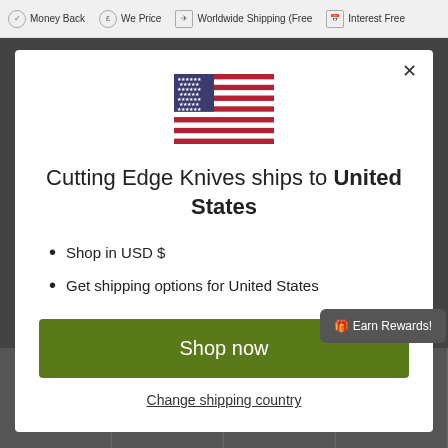Money Back  We Price  Worldwide Shipping (Free  Interest Free
[Figure (illustration): US flag SVG illustration centered in modal]
Cutting Edge Knives ships to United States
Shop in USD $
Get shipping options for United States
Shop now
Change shipping country
🎁 Earn Rewards!